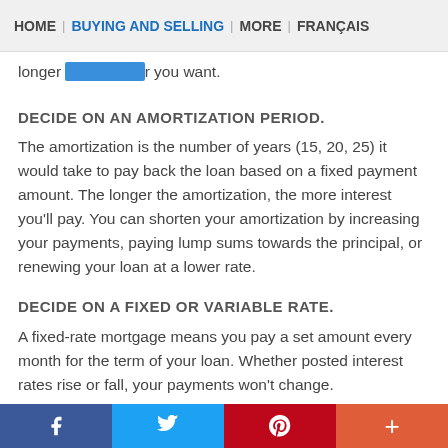HOME | BUYING AND SELLING | MORE | FRANÇAIS
longer [link] r you want.
DECIDE ON AN AMORTIZATION PERIOD.
The amortization is the number of years (15, 20, 25) it would take to pay back the loan based on a fixed payment amount. The longer the amortization, the more interest you'll pay. You can shorten your amortization by increasing your payments, paying lump sums towards the principal, or renewing your loan at a lower rate.
DECIDE ON A FIXED OR VARIABLE RATE.
A fixed-rate mortgage means you pay a set amount every month for the term of your loan. Whether posted interest rates rise or fall, your payments won't change.
With a variable-rate mortgage, your interest rate fluctuates with your lender's prime lending rate. It offers